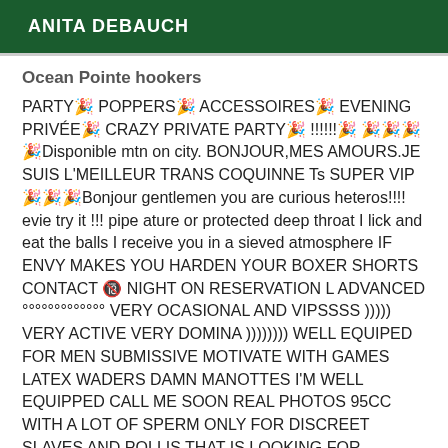ANITA DEBAUCH
Ocean Pointe hookers
PARTY🎉 POPPERS🎉 ACCESSOIRES🎉 EVENING PRIVÉE🎉 CRAZY PRIVATE PARTY🎉 !!!!!!🎉 🎉🎉🎉🎉Disponible mtn on city. BONJOUR,MES AMOURS.JE SUIS L'MEILLEUR TRANS COQUINNE Ts SUPER VIP🎉🎉🎉Bonjour gentlemen you are curious heteros!!!! evie try it !!! pipe ature or protected deep throat I lick and eat the balls I receive you in a sieved atmosphere IF ENVY MAKES YOU HARDEN YOUR BOXER SHORTS CONTACT 🔞 NIGHT ON RESERVATION L ADVANCED °°°°°°°°°°°°° VERY OCASIONAL AND VIPSSSS ))))) VERY ACTIVE VERY DOMINA )))))))) WELL EQUIPED FOR MEN SUBMISSIVE MOTIVATE WITH GAMES LATEX WADERS DAMN MANOTTES I'M WELL EQUIPPED CALL ME SOON REAL PHOTOS 95CC WITH A LOT OF SPERM ONLY FOR DISCREET SLAVES AND POLLIS THAT IS LOOKING FOR QUALITY MASTERS🎉🎉🎉🎉 A LOT OF SPERM FOR YOU